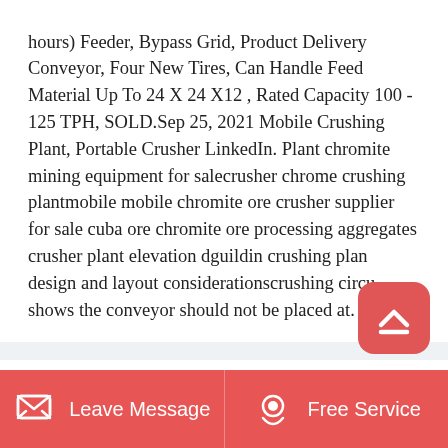hours) Feeder, Bypass Grid, Product Delivery Conveyor, Four New Tires, Can Handle Feed Material Up To 24 X 24 X12 , Rated Capacity 100 - 125 TPH, SOLD.Sep 25, 2021 Mobile Crushing Plant, Portable Crusher LinkedIn. Plant chromite mining equipment for salecrusher chrome crushing plantmobile mobile chromite ore crusher supplier for sale cuba ore chromite ore processing aggregates crusher plant elevation dguildin crushing plan design and layout considerationscrushing circu shows the conveyor should not be placed at.
Best Portable Rock Crusher Your No 1 Rock Crusher Supplier